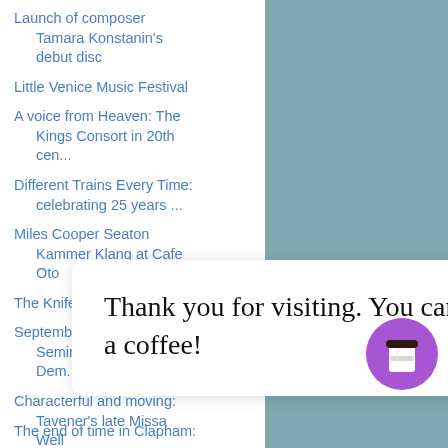Launch of composer Tamara Konstanin's debut disc
Little Venice Music Festival
A voice from Heaven: The Kings Consort in 20th cen...
Different Trains Every Time: celebrating 25 years ...
Miles Cooper Seaton Kammer Klang at Cafe Oto
The Knife of Dawn
September on Planet Hugill: Semiramide, Norma, Dem...
Characterful and moving: Tavener's late Missa Well
Thank you for visiting. You can now buy me a coffee!
The end of time in Clapham: